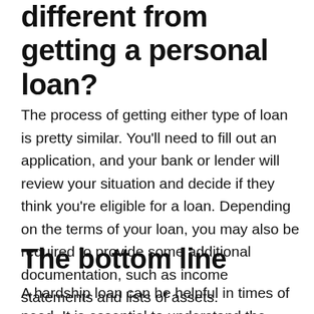different from getting a personal loan?
The process of getting either type of loan is pretty similar. You'll need to fill out an application, and your bank or lender will review your situation and decide if they think you're eligible for a loan. Depending on the terms of your loan, you may also be required to provide some additional documentation, such as income statements and lists of assets.
The bottom line
A hardship loan can be helpful in times of need. It is essential to understand the differences between this